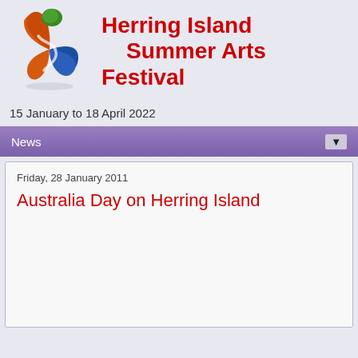[Figure (logo): Herring Island Summer Arts Festival logo — a circular icon with orange, blue, and green swirling shapes resembling a stylized figure]
Herring Island Summer Arts Festival
15 January to 18 April 2022
News ▼
Friday, 28 January 2011
Australia Day on Herring Island